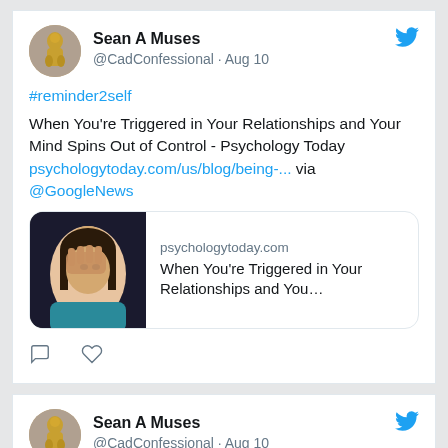[Figure (screenshot): Twitter/social media feed screenshot showing two tweets by Sean A Muses (@CadConfessional)]
Sean A Muses
@CadConfessional · Aug 10
#reminder2self

When You're Triggered in Your Relationships and Your Mind Spins Out of Control - Psychology Today
psychologytoday.com/us/blog/being-... via @GoogleNews
psychologytoday.com
When You're Triggered in Your Relationships and You…
Sean A Muses
@CadConfessional · Aug 10
#Reminder2self